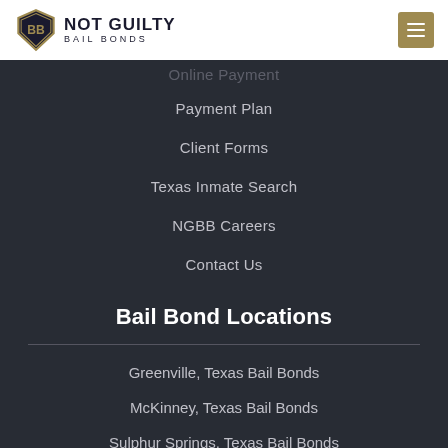NOT GUILTY BAIL BONDS
Online Payment (faded)
Payment Plan
Client Forms
Texas Inmate Search
NGBB Careers
Contact Us
Bail Bond Locations
Greenville, Texas Bail Bonds
McKinney, Texas Bail Bonds
Sulphur Springs, Texas Bail Bonds